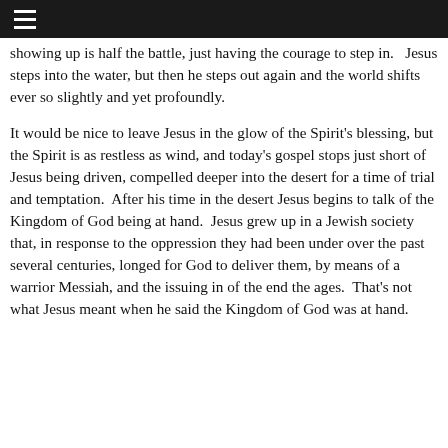≡
showing up is half the battle, just having the courage to step in.   Jesus steps into the water, but then he steps out again and the world shifts ever so slightly and yet profoundly.
It would be nice to leave Jesus in the glow of the Spirit's blessing, but the Spirit is as restless as wind, and today's gospel stops just short of Jesus being driven, compelled deeper into the desert for a time of trial and temptation.  After his time in the desert Jesus begins to talk of the Kingdom of God being at hand.  Jesus grew up in a Jewish society that, in response to the oppression they had been under over the past several centuries, longed for God to deliver them, by means of a warrior Messiah, and the issuing in of the end the ages.  That's not what Jesus meant when he said the Kingdom of God was at hand.